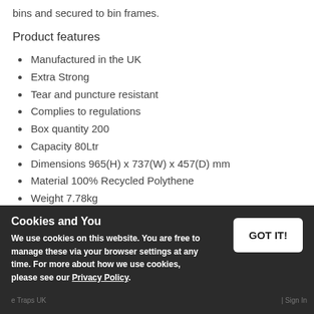bins and secured to bin frames.
Product features
Manufactured in the UK
Extra Strong
Tear and puncture resistant
Complies to regulations
Box quantity 200
Capacity 80Ltr
Dimensions 965(H) x 737(W) x 457(D) mm
Material 100% Recycled Polythene
Weight 7.78kg
Cookies and You
We use cookies on this website. You are free to manage these via your browser settings at any time. For more about how we use cookies, please see our Privacy Policy.